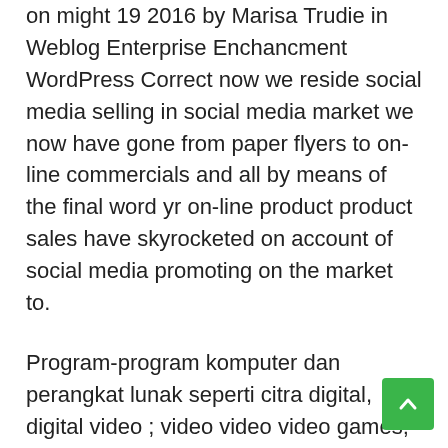on might 19 2016 by Marisa Trudie in Weblog Enterprise Enchancment WordPress Correct now we reside social media selling in social media market we now have gone from paper flyers to on-line commercials and all by means of the final word yr on-line product product sales have skyrocketed on account of social media promoting on the market to.
Program-program komputer dan perangkat lunak seperti citra digital, digital video ; video video video games; halaman web dan situs internet, termasuk media sosial; data dan database; digital audio, seperti mp3, mp4 dan e-buku adalah contoh media digital.
Individuals prefer to support native companies, and so they could also be prepared to pay more for handcrafted spirits, beers and wines. A file